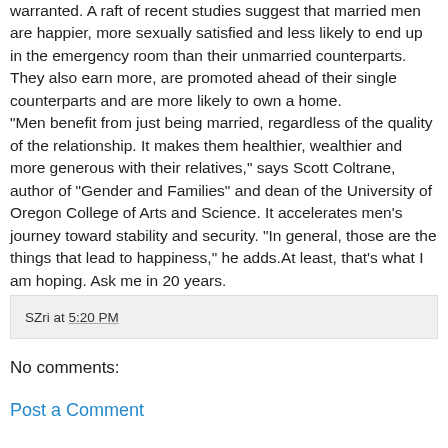warranted. A raft of recent studies suggest that married men are happier, more sexually satisfied and less likely to end up in the emergency room than their unmarried counterparts. They also earn more, are promoted ahead of their single counterparts and are more likely to own a home. "Men benefit from just being married, regardless of the quality of the relationship. It makes them healthier, wealthier and more generous with their relatives," says Scott Coltrane, author of "Gender and Families" and dean of the University of Oregon College of Arts and Science. It accelerates men's journey toward stability and security. "In general, those are the things that lead to happiness," he adds.At least, that's what I am hoping. Ask me in 20 years.
SZri at 5:20 PM
No comments:
Post a Comment